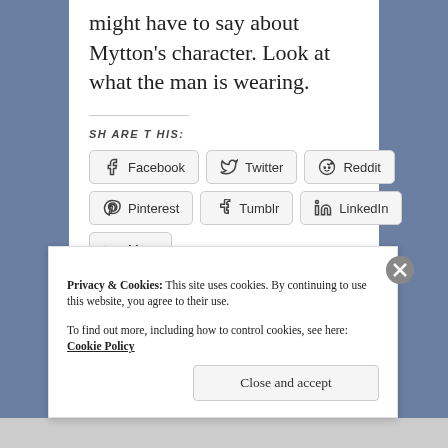might have to say about Mytton's character. Look at what the man is wearing.
SHARE THIS:
Facebook  Twitter  Reddit  Pinterest  Tumblr  LinkedIn  More
Privacy & Cookies: This site uses cookies. By continuing to use this website, you agree to their use. To find out more, including how to control cookies, see here: Cookie Policy
Close and accept